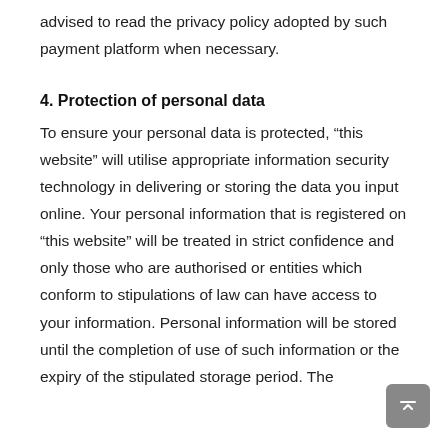advised to read the privacy policy adopted by such payment platform when necessary.
4. Protection of personal data
To ensure your personal data is protected, “this website” will utilise appropriate information security technology in delivering or storing the data you input online. Your personal information that is registered on “this website” will be treated in strict confidence and only those who are authorised or entities which conform to stipulations of law can have access to your information. Personal information will be stored until the completion of use of such information or the expiry of the stipulated storage period. The